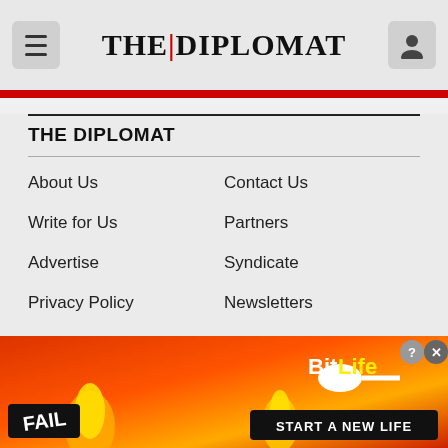THE DIPLOMAT
THE DIPLOMAT
About Us
Contact Us
Write for Us
Partners
Advertise
Syndicate
Privacy Policy
Newsletters
Subscriptions
MAGAZINE
[Figure (screenshot): Advertisement banner for BitLife game, showing animated character facepalming, flames, and text: FAIL, BitLife, START A NEW LIFE]